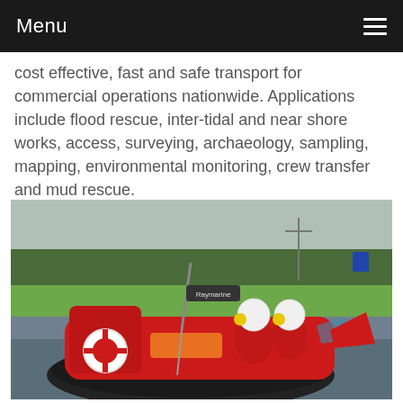Menu
cost effective, fast and safe transport for commercial operations nationwide. Applications include flood rescue, inter-tidal and near shore works, access, surveying, archaeology, sampling, mapping, environmental monitoring, crew transfer and mud rescue.
[Figure (photo): A red hovercraft on water with two crew members in red suits and white helmets with yellow ear protection, carrying rescue equipment including a life ring and orange stretcher. Green fields and trees visible in the background.]